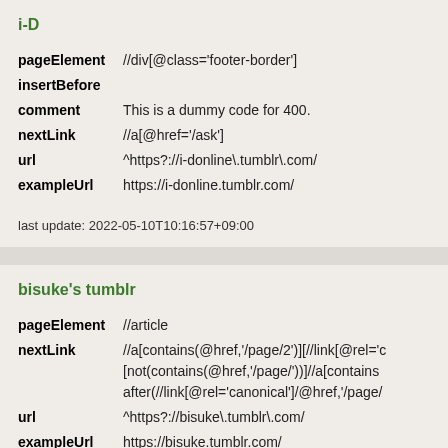i-D
| pageElement | //div[@class='footer-border'] |
| insertBefore |  |
| comment | This is a dummy code for 400. |
| nextLink | //a[@href='/ask'] |
| url | ^https?://i-donline\.tumblr\.com/ |
| exampleUrl | https://i-donline.tumblr.com/ |
last update: 2022-05-10T10:16:57+09:00
bisuke's tumblr
| pageElement | //article |
| nextLink | //a[contains(@href,'/page/2')][//link[@rel='c[not(contains(@href,'/page/'))]//a[containsafter(//link[@rel='canonical']/@href,'/page/ |
| url | ^https?://bisuke\.tumblr\.com/ |
| exampleUrl | https://bisuke.tumblr.com/ |
last update: 2022-05-01T07:22:24+09:00